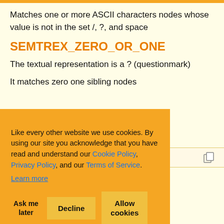Matches one or more ASCII characters nodes whose value is not in the set /, ?, and space
SEMTREX_ZERO_OR_ONE
The textual representation is a ? (questionmark)
It matches zero one sibling nodes
nodes whose
The textual representation is a . (dot)